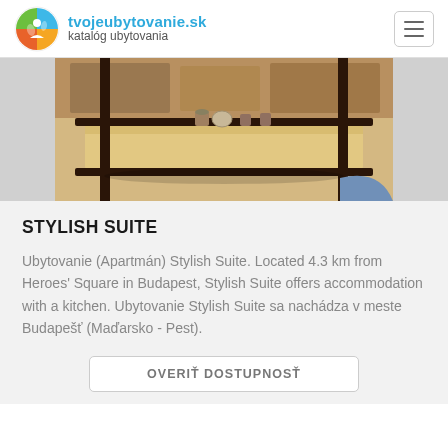tvojeubytovanie.sk — katalóg ubytovania
[Figure (photo): Photo of a wooden coffee table with metal black frame legs, small cups on top, rug and floor in background]
STYLISH SUITE
Ubytovanie (Apartmán) Stylish Suite. Located 4.3 km from Heroes' Square in Budapest, Stylish Suite offers accommodation with a kitchen. Ubytovanie Stylish Suite sa nachádza v meste Budapešť (Maďarsko - Pest).
OVERIŤ DOSTUPNOSŤ